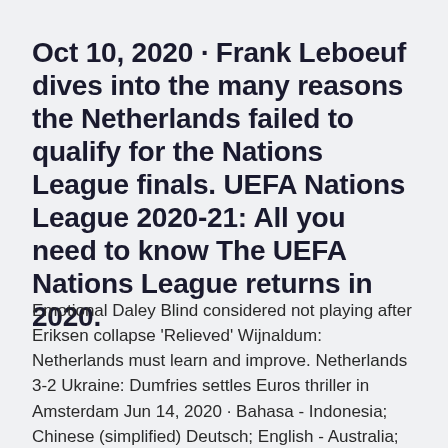Oct 10, 2020 · Frank Leboeuf dives into the many reasons the Netherlands failed to qualify for the Nations League finals. UEFA Nations League 2020-21: All you need to know The UEFA Nations League returns in 2020.
Emotional Daley Blind considered not playing after Eriksen collapse 'Relieved' Wijnaldum: Netherlands must learn and improve. Netherlands 3-2 Ukraine: Dumfries settles Euros thriller in Amsterdam Jun 14, 2020 · Bahasa - Indonesia; Chinese (simplified) Deutsch; English - Australia; English - Canada; English - Ghana